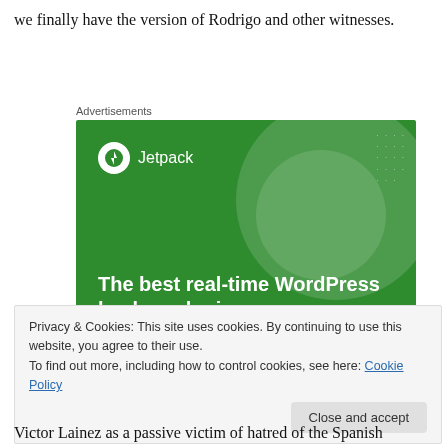we finally have the version of Rodrigo and other witnesses.
Advertisements
[Figure (illustration): Jetpack advertisement banner with green background showing lightning bolt logo, decorative circles, and text 'The best real-time WordPress backup plugin']
Privacy & Cookies: This site uses cookies. By continuing to use this website, you agree to their use.
To find out more, including how to control cookies, see here: Cookie Policy
Victor Lainez as a passive victim of hatred of the Spanish